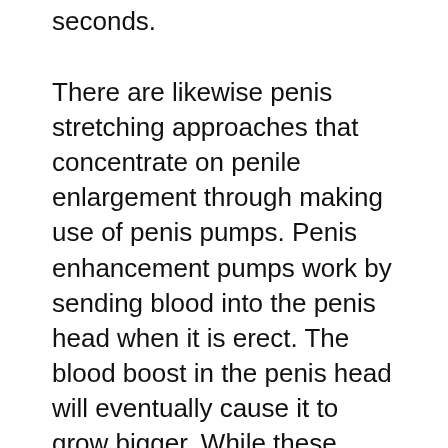seconds.
There are likewise penis stretching approaches that concentrate on penile enlargement through making use of penis pumps. Penis enhancement pumps work by sending blood into the penis head when it is erect. The blood boost in the penis head will eventually cause it to grow bigger. While these penis pumps have actually been commonly used for many years, more specialists are currently advising making use of all-natural augmentation approaches like the ones pointed out over.
We see ads for penis enlargement anywhere, and also the majority of us really feel lured by the unverified guarantees declaring to